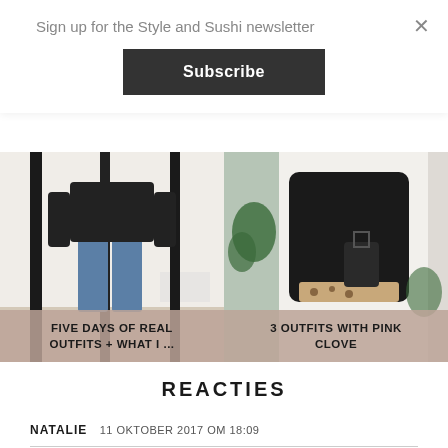Sign up for the Style and Sushi newsletter
Subscribe
[Figure (photo): Fashion photo: person wearing jeans and black top, standing in white room. Caption: FIVE DAYS OF REAL OUTFITS + WHAT I ...]
[Figure (photo): Fashion photo: person in black oversized sweater with animal print detail, standing in white room with plant. Caption: 3 OUTFITS WITH PINK CLOVE]
REACTIES
NATALIE  11 OKTOBER 2017 OM 18:09